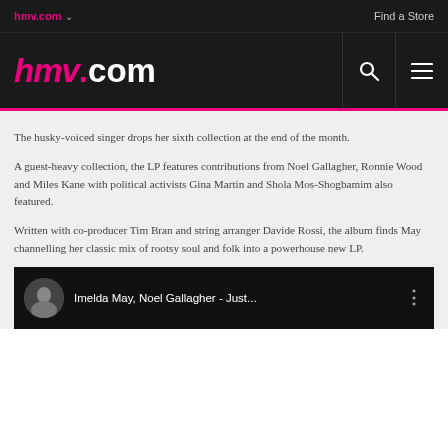hmv.com  Find a Store
hmv.com
The husky-voiced singer drops her sixth collection at the end of the month.
A guest-heavy collection, the LP features contributions from Noel Gallagher, Ronnie Wood and Miles Kane with political activists Gina Martin and Shola Mos-Shogbamim also featured.
Written with co-producer Tim Bran and string arranger Davide Rossi, the album finds May channelling her classic mix of rootsy soul and folk into a powerhouse new LP.
[Figure (screenshot): YouTube video thumbnail showing Imelda May, Noel Gallagher - Just... with a circular avatar portrait on dark background]